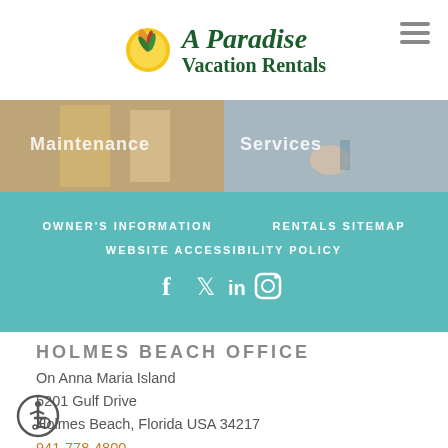[Figure (logo): A Paradise Vacation Rentals logo with sun and bird of paradise flower icon]
[Figure (photo): Two side-by-side photos showing maintenance and cleaning services]
OWNER'S INFORMATION
RENTALS SITEMAP
WEBSITE ACCESSIBILITY POLICY
[Figure (infographic): Social media icons: Facebook, Twitter, LinkedIn, Instagram]
HOLMES BEACH OFFICE
On Anna Maria Island
5201 Gulf Drive
Holmes Beach, Florida USA 34217
941-778-4800
Se Habla Español | Wir sprechen Deutsch
[Figure (illustration): Wheelchair accessibility icon in circular border]